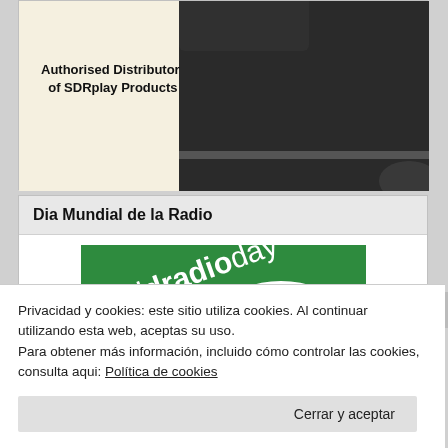[Figure (photo): Photo of a dark electronic device (SDRplay product), partially visible at top of card]
Authorised Distributor of SDRplay Products
Dia Mundial de la Radio
[Figure (photo): World Radio Day banner/logo — green background with white text reading 'worldradioday' and a partial white circular graphic]
Privacidad y cookies: este sitio utiliza cookies. Al continuar utilizando esta web, aceptas su uso.
Para obtener más información, incluido cómo controlar las cookies, consulta aqui: Política de cookies
Cerrar y aceptar